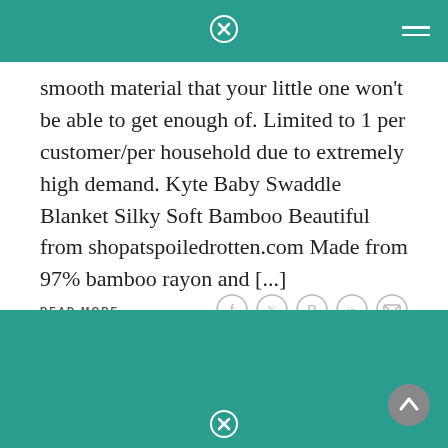smooth material that your little one won't be able to get enough of. Limited to 1 per customer/per household due to extremely high demand. Kyte Baby Swaddle Blanket Silky Soft Bamboo Beautiful from shopatspoiledrotten.com Made from 97% bamboo rayon and [...]
READ MORE